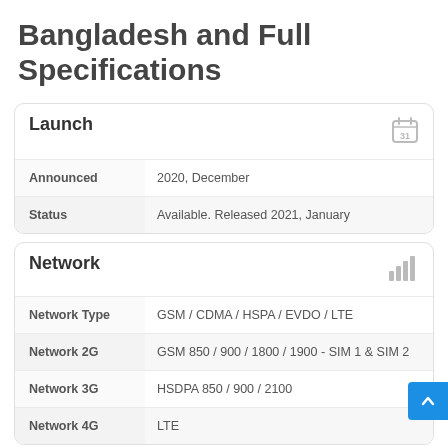Bangladesh and Full Specifications
Launch
|  |  |
| --- | --- |
| Announced | 2020, December |
| Status | Available. Released 2021, January |
Network
|  |  |
| --- | --- |
| Network Type | GSM / CDMA / HSPA / EVDO / LTE |
| Network 2G | GSM 850 / 900 / 1800 / 1900 - SIM 1 & SIM 2 |
| Network 3G | HSDPA 850 / 900 / 2100 |
| Network 4G | LTE |